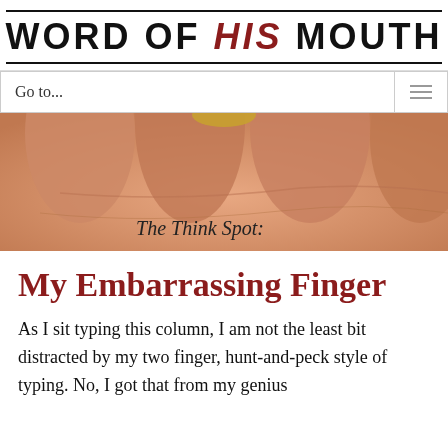WORD OF HIS MOUTH
Go to...
[Figure (photo): Close-up photograph of a hand/fingers with text overlay reading 'The Think Spot:']
My Embarrassing Finger
As I sit typing this column, I am not the least bit distracted by my two finger, hunt-and-peck style of typing. No, I got that from my genius